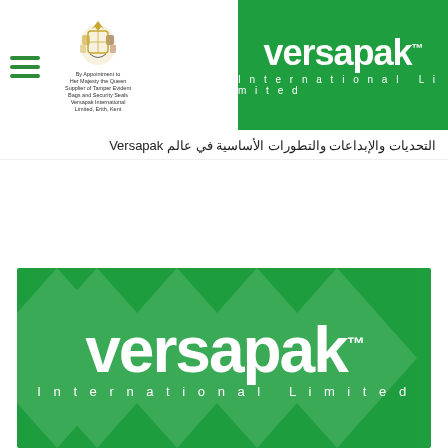[Figure (logo): Versapak International Limited logo in white text on green background, top-right header]
[Figure (logo): Royal crest with text: By Appointment to Her Majesty the Queen Supplier of Tamper Evident Bags and Security Seals Versapak International Limited, Erith, Kent]
التحديات والإبداعات والتطورات الأساسية في عالم Versapak
[Figure (logo): Large Versapak International Limited logo in white on green background, lower half of page with subtle diamond pattern overlay]